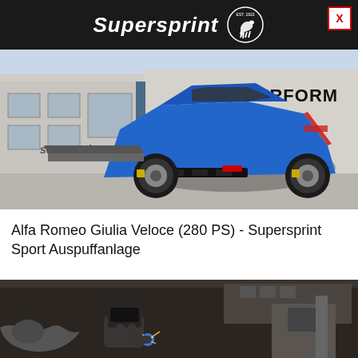Supersprint
[Figure (photo): Blue Alfa Romeo Giulia Veloce parked in front of a Supersprint HIGH PERFORMANCE building/showroom, rear three-quarter view.]
Alfa Romeo Giulia Veloce (280 PS) - Supersprint Sport Auspuffanlage
[Figure (photo): Workshop scene with a person welding exhaust components, sparks visible, with exhaust parts and machinery in the background.]